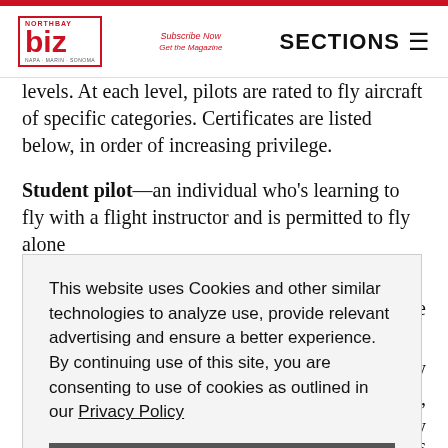NORTHBAY biz | Subscribe Now Get the Magazine | SECTIONS
levels. At each level, pilots are rated to fly aircraft of specific categories. Certificates are listed below, in order of increasing privilege.
Student pilot—an individual who's learning to fly with a flight instructor and is permitted to fly alone
This website uses Cookies and other similar technologies to analyze use, provide relevant advertising and ensure a better experience. By continuing use of this site, you are consenting to use of cookies as outlined in our Privacy Policy
Accept Cookies
o fly planes, y r seats in the daytime, for pleasure only